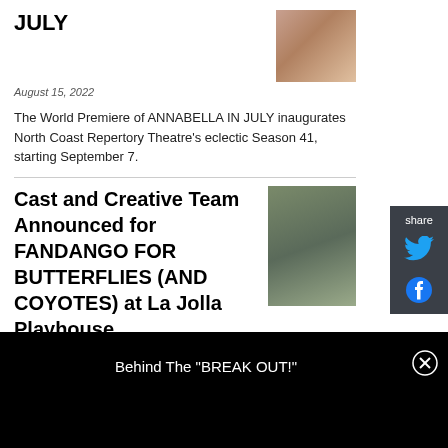JULY
August 15, 2022
[Figure (photo): Photo of people at a table event]
The World Premiere of ANNABELLA IN JULY inaugurates North Coast Repertory Theatre's eclectic Season 41, starting September 7.
Cast and Creative Team Announced for FANDANGO FOR BUTTERFLIES (AND COYOTES) at La Jolla Playhouse
[Figure (photo): Group photo of cast members outdoors]
August 10, 2022
La Jolla Playhouse has announced the cast and creative team for its production of En Garde Arts' Fandango for Butterflies (and Coyotes), by Andrea Thome,
Behind The "BREAK OUT!"